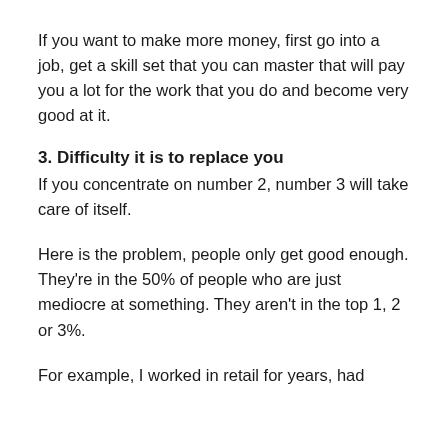If you want to make more money, first go into a job, get a skill set that you can master that will pay you a lot for the work that you do and become very good at it.
3. Difficulty it is to replace you
If you concentrate on number 2, number 3 will take care of itself.
Here is the problem, people only get good enough. They're in the 50% of people who are just mediocre at something. They aren't in the top 1, 2 or 3%.
For example, I worked in retail for years, had